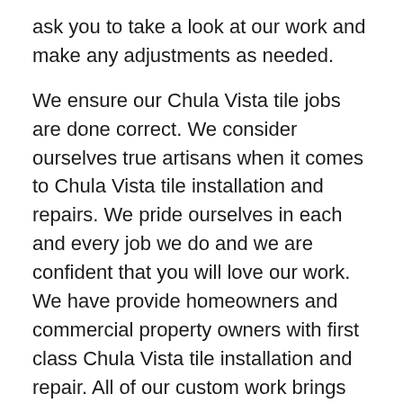ask you to take a look at our work and make any adjustments as needed.
We ensure our Chula Vista tile jobs are done correct. We consider ourselves true artisans when it comes to Chula Vista tile installation and repairs. We pride ourselves in each and every job we do and we are confident that you will love our work. We have provide homeowners and commercial property owners with first class Chula Vista tile installation and repair. All of our custom work brings out the best in your home or property. Your expectations for your Chula Vista tile needs will always be met, if not surpassed. You can Trust Otay Eastlake Handyman as your source for all your Chula Vista tile installation and repair needs.
Let us at Otay Eastlake Handyman assist you with all your Chula Vista tile needs. Contact us today to acquire an